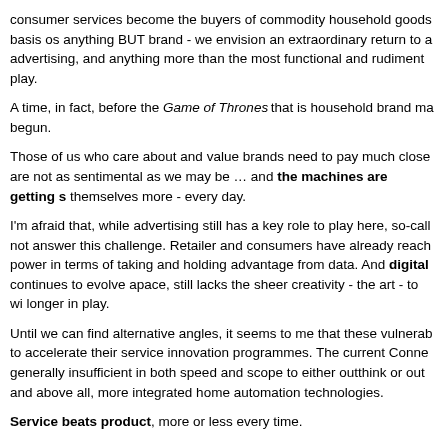consumer services become the buyers of commodity household goods basis os anything BUT brand - we envision an extraordinary return to advertising, and anything more than the most functional and rudiment play.
A time, in fact, before the Game of Thrones that is household brand ma begun.
Those of us who care about and value brands need to pay much close are not as sentimental as we may be … and the machines are getting s themselves more - every day.
I'm afraid that, while advertising still has a key role to play here, so-call not answer this challenge. Retailer and consumers have already reach power in terms of taking and holding advantage from data. And digital continues to evolve apace, still lacks the sheer creativity - the art - to wi longer in play.
Until we can find alternative angles, it seems to me that these vulnerab to accelerate their service innovation programmes. The current Conne generally insufficient in both speed and scope to either outthink or out and above all, more integrated home automation technologies.
Service beats product, more or less every time.